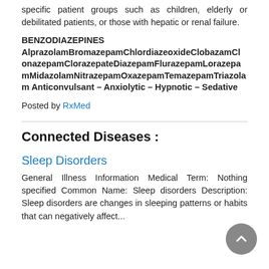specific patient groups such as children, elderly or debilitated patients, or those with hepatic or renal failure.
BENZODIAZEPINES AlprazolamBromazepamChlordiazeoxideClobazamClonazepamClorazepateDiazepamFlurazepamLorazepamMidazolamNitrazepamOxazepamTemazepamTriazolam Anticonvulsant – Anxiolytic – Hypnotic – Sedative
Posted by RxMed
Connected Diseases :
Sleep Disorders
General Illness Information Medical Term: Nothing specified Common Name: Sleep disorders Description: Sleep disorders are changes in sleeping patterns or habits that can negatively affect...